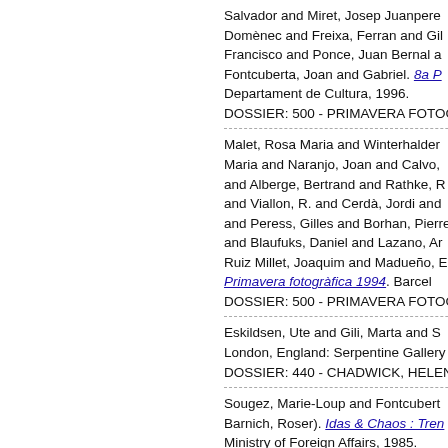Salvador and Miret, Josep Juanpere and Domènec and Freixa, Ferran and Gil, Francisco and Ponce, Juan Bernal and Fontcuberta, Joan and Gabriel. 8a P... Departament de Cultura, 1996. DOSSIER: 500 - PRIMAVERA FOTOGR...
Malet, Rosa Maria and Winterhalder, Maria and Naranjo, Joan and Calvo, and Alberge, Bertrand and Rathke, and Viallon, R. and Cerdà, Jordi and and Peress, Gilles and Borhan, Pierre and Blaufuks, Daniel and Lazano, Ar... Ruiz Millet, Joaquim and Madueño, E... Primavera fotogràfica 1994. Barcel... DOSSIER: 500 - PRIMAVERA FOTOGR...
Eskildsen, Ute and Gili, Marta and S... London, England: Serpentine Gallery... DOSSIER: 440 - CHADWICK, HELEN
Sougez, Marie-Loup and Fontcubert... Barnich, Roser). Idas & Chaos : Tren... Ministry of Foreign Affairs, 1985. DOSSIER: 800 - PHOTOGRAPHIE / PI...